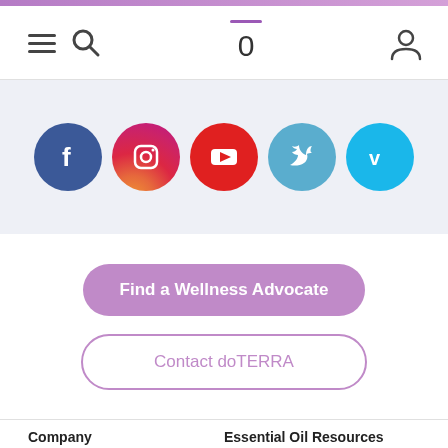[Figure (screenshot): Navigation bar with hamburger menu icon, search icon, cart icon showing 0, and user/account icon on white background]
[Figure (infographic): Social media icons row: Facebook (dark blue circle), Instagram (gradient pink/purple circle), YouTube (red circle), Twitter (light blue circle), Vimeo (cyan circle) on light grey/blue background]
Find a Wellness Advocate
Contact doTERRA
Company
Essential Oil Resources